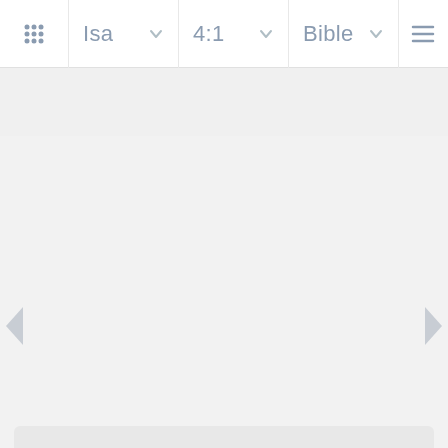[Figure (screenshot): Bible app navigation bar with grid/apps icon, book selector showing 'Isa', verse selector showing '4:1', translation selector showing 'Bible', and hamburger menu icon]
[Figure (screenshot): Main content area showing gray empty reading area with left and right navigation arrows, a close (X) button, and a bottom panel/drawer partially visible with bottom corner arrows]